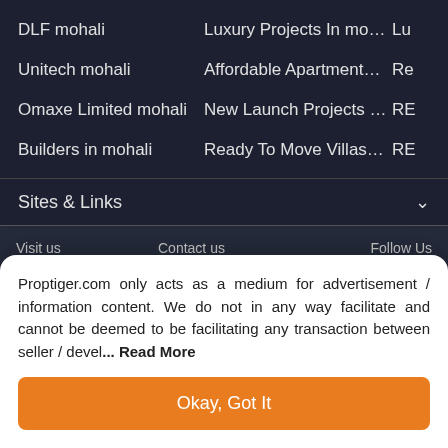DLF mohali
Luxury Projects In mohali
Lu
Unitech mohali
Affordable Apartments I...
Re
Omaxe Limited mohali
New Launch Projects in ...
RE
Builders in mohali
Ready To Move Villas fo...
RE
Sites & Links
Visit us
Plot No. 25,
Echelon
Contact us
India +918030-178
Follow Us
Proptiger.com only acts as a medium for advertisement / information content. We do not in any way facilitate and cannot be deemed to be facilitating any transaction between seller / devel... Read More
Okay, Got It